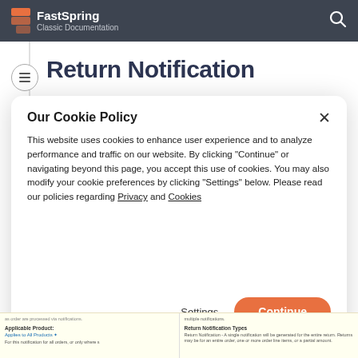FastSpring Classic Documentation
Return Notification
Our Cookie Policy
This website uses cookies to enhance user experience and to analyze performance and traffic on our website. By clicking "Continue" or navigating beyond this page, you accept this use of cookies. You may also modify your cookie preferences by clicking "Settings" below. Please read our policies regarding Privacy and Cookies
Settings | Continue